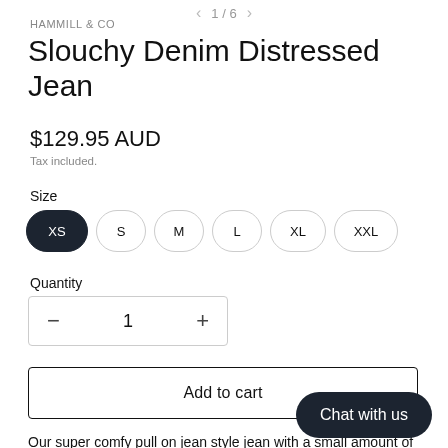1 / 6
HAMMILL & CO
Slouchy Denim Distressed Jean
$129.95 AUD
Tax included.
Size
XS S M L XL XXL
Quantity
− 1 +
Add to cart
Chat with us
Our super comfy pull on jean style jean with a small amount of stretch for extra comfort, they look great cuffed up...